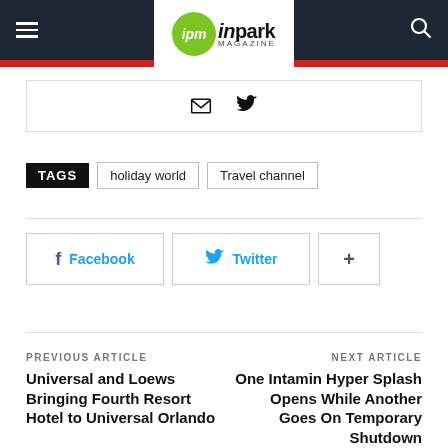ipm inpark MAGAZINE
[Figure (logo): IPM Inpark Magazine logo with green circle and bold text]
Email and Twitter social icons
TAGS  holiday world  Travel channel
Facebook  Twitter  +
PREVIOUS ARTICLE
Universal and Loews Bringing Fourth Resort Hotel to Universal Orlando
NEXT ARTICLE
One Intamin Hyper Splash Opens While Another Goes On Temporary Shutdown